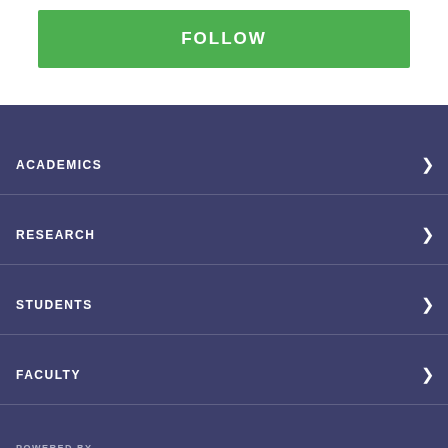FOLLOW
ACADEMICS
RESEARCH
STUDENTS
FACULTY
POWERED BY
[Figure (logo): Typeset logo with document icon and text 'typeset']